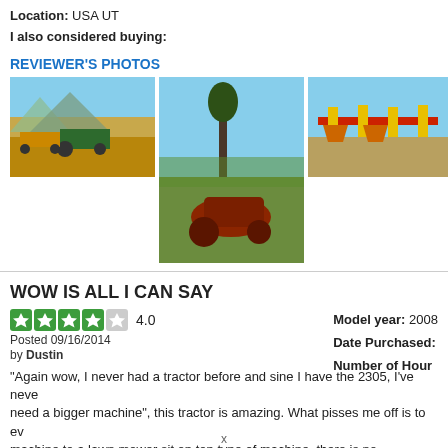Location: USA UT
I also considered buying:
REVIEWER'S PHOTOS
[Figure (photo): Three photos of farm equipment/tractors in a field]
WOW IS ALL I CAN SAY
4.0 Posted 09/16/2014 by Dustin
Model year: 2008 Date Purchased: Number of Hours:
"Again wow, I never had a tractor before and sine I have the 2305, I've never need a bigger machine", this tractor is amazing. What pisses me off is to ev machine to a lawn mower sit on top type of machine. there is no comparing